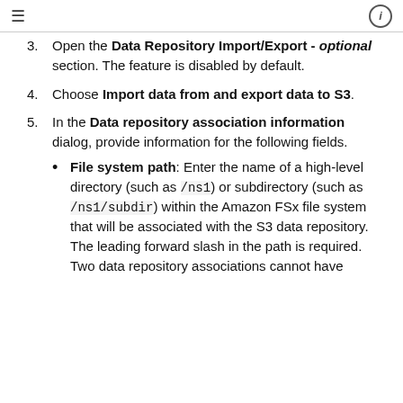≡  ℹ
Open the Data Repository Import/Export - optional section. The feature is disabled by default.
Choose Import data from and export data to S3.
In the Data repository association information dialog, provide information for the following fields.
File system path: Enter the name of a high-level directory (such as /ns1) or subdirectory (such as /ns1/subdir) within the Amazon FSx file system that will be associated with the S3 data repository. The leading forward slash in the path is required. Two data repository associations cannot have